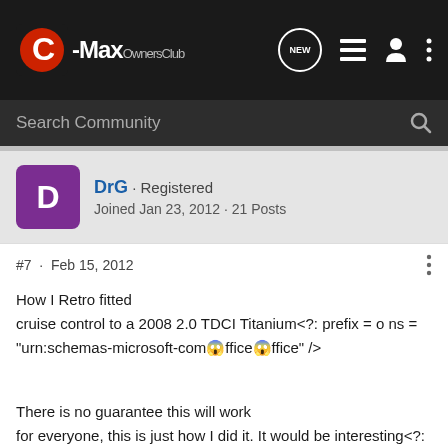C-Max OwnersClub
Search Community
DrG · Registered
Joined Jan 23, 2012 · 21 Posts
#7 · Feb 15, 2012
How I Retro fitted
cruise control to a 2008 2.0 TDCI Titanium<?: prefix = o ns =
"urn:schemas-microsoft-com😱ffice😱ffice" />
There is no guarantee this will work
for everyone, this is just how I did it. It would be interesting<?: prefix = u2 /><u2😀></u2😀>